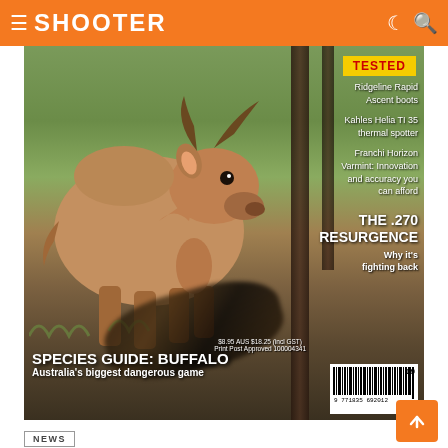≡ SHOOTER ☾ 🔍
[Figure (photo): Magazine cover of Sporting Shooter showing a large buff-colored buffalo/bull standing in a wooded area. Right side panels show: TESTED badge, Ridgeline Rapid Ascent boots, Kahles Helia TI 35 thermal spotter, Franchi Horizon Varmint product text. Bottom text: SPECIES GUIDE: BUFFALO - Australia's biggest dangerous game. Also shows THE .270 RESURGENCE - Why it's fighting back. Barcode visible bottom right.]
NEWS
Sporting Shooter September issue on sale now!
by Sporting Shooter